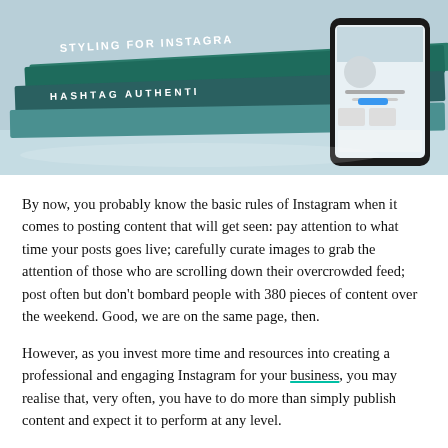[Figure (photo): Photo of stacked books about Instagram styling and hashtag authenticity, with a smartphone showing an Instagram profile, on a light blue surface.]
By now, you probably know the basic rules of Instagram when it comes to posting content that will get seen: pay attention to what time your posts goes live; carefully curate images to grab the attention of those who are scrolling down their overcrowded feed; post often but don't bombard people with 380 pieces of content over the weekend. Good, we are on the same page, then.
However, as you invest more time and resources into creating a professional and engaging Instagram for your business, you may realise that, very often, you have to do more than simply publish content and expect it to perform at any level.